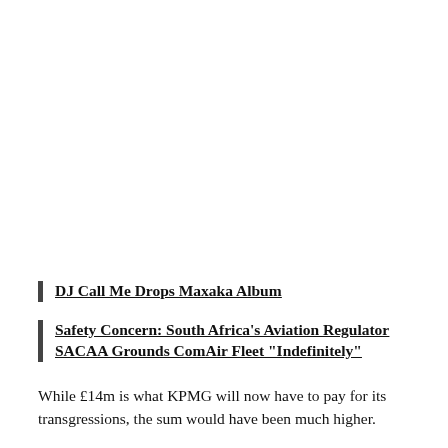DJ Call Me Drops Maxaka Album
Safety Concern: South Africa’s Aviation Regulator SACAA Grounds ComAir Fleet “Indefinitely”
While £14m is what KPMG will now have to pay for its transgressions, the sum would have been much higher.